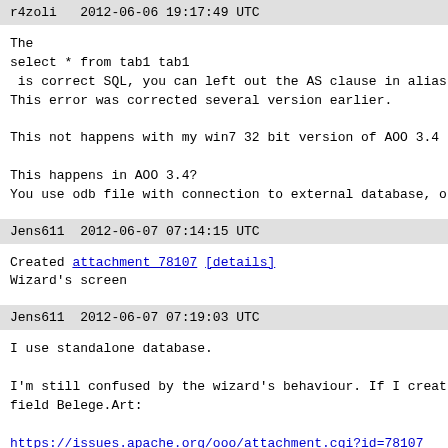r4zoli   2012-06-06 19:17:49 UTC
The
select * from tab1 tab1
 is correct SQL, you can left out the AS clause in alias
This error was corrected several version earlier.

This not happens with my win7 32 bit version of AOO 3.4

This happens in AOO 3.4?
You use odb file with connection to external database, o
Jens611   2012-06-07 07:14:15 UTC
Created attachment 78107 [details]
Wizard's screen
Jens611   2012-06-07 07:19:03 UTC
I use standalone database.

I'm still confused by the wizard's behaviour. If I creat
field Belege.Art:

https://issues.apache.org/ooo/attachment.cgi?id=78107

I also expect the wizard to create a search for rows wit